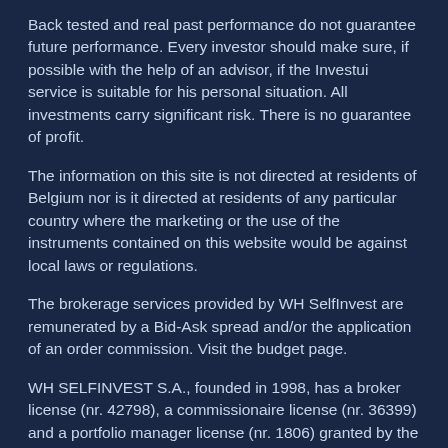Back tested and real past performance do not guarantee future performance. Every investor should make sure, if possible with the help of an advisor, if the Investui service is suitable for his personal situation. All investments carry significant risk. There is no guarantee of profit.
The information on this site is not directed at residents of Belgium nor is it directed at residents of any particular country where the marketing or the use of the instruments contained on this website would be against local laws or regulations.
The brokerage services provided by WH SelfInvest are remunerated by a Bid-Ask spread and/or the application of an order commission. Visit the budget page.
WH SELFINVEST S.A., founded in 1998, has a broker license (nr. 42798), a commissionaire license (nr. 36399) and a portfolio manager license (nr. 1806) granted by the Luxemburg Ministry of Finance. The company is supervised by the "Commission de Surveillance du Secteur Financier".
Based on its European passport, the company maintains: a branch office in France (nr. 18943 acpr) which is also subjected to the supervision of the "Autorité de Contrôle Prudentiel et de Résolution" (ACPR) and the "Banque de France", and a branch...